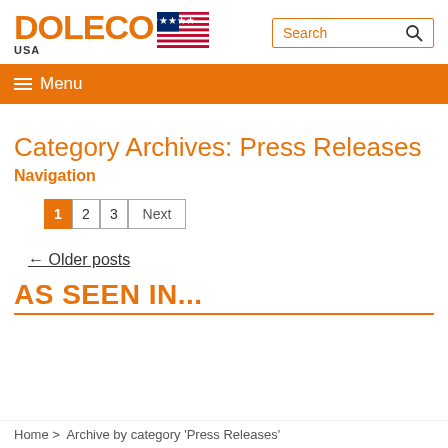[Figure (logo): DOLECO USA logo with American flag]
Search
Menu
Category Archives: Press Releases
Navigation
1 2 3 Next
← Older posts
AS SEEN IN...
Home > Archive by category 'Press Releases'